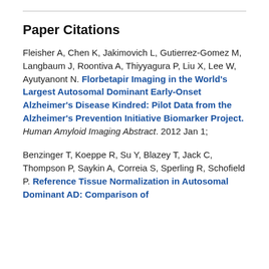Paper Citations
Fleisher A, Chen K, Jakimovich L, Gutierrez-Gomez M, Langbaum J, Roontiva A, Thiyyagura P, Liu X, Lee W, Ayutyanont N. Florbetapir Imaging in the World’s Largest Autosomal Dominant Early-Onset Alzheimer’s Disease Kindred: Pilot Data from the Alzheimer’s Prevention Initiative Biomarker Project. Human Amyloid Imaging Abstract. 2012 Jan 1;
Benzinger T, Koeppe R, Su Y, Blazey T, Jack C, Thompson P, Saykin A, Correia S, Sperling R, Schofield P. Reference Tissue Normalization in Autosomal Dominant AD: Comparison of